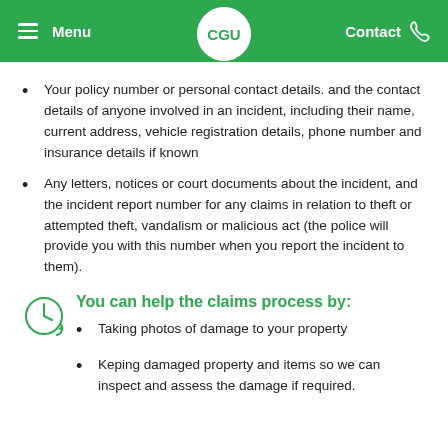Menu | CGU | Contact
Your policy number or personal contact details. and the contact details of anyone involved in an incident, including their name, current address, vehicle registration details, phone number and insurance details if known
Any letters, notices or court documents about the incident, and the incident report number for any claims in relation to theft or attempted theft, vandalism or malicious act (the police will provide you with this number when you report the incident to them).
You can help the claims process by:
Taking photos of damage to your property
Keping damaged property and items so we can inspect and assess the damage if required.